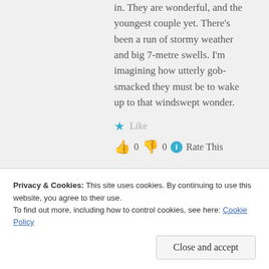in. They are wonderful, and the youngest couple yet. There's been a run of stormy weather and big 7-metre swells. I'm imagining how utterly gob-smacked they must be to wake up to that windswept wonder.
★ Like
👍 0 👎 0 ℹ Rate This
Reply
Privacy & Cookies: This site uses cookies. By continuing to use this website, you agree to their use.
To find out more, including how to control cookies, see here: Cookie Policy
Close and accept